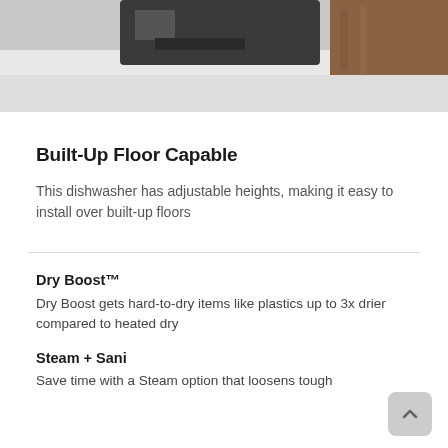[Figure (photo): Partial photo of a staple gun or flooring installation tool on a white/light floor surface, cropped at top]
Built-Up Floor Capable
This dishwasher has adjustable heights, making it easy to install over built-up floors
Dry Boost™
Dry Boost gets hard-to-dry items like plastics up to 3x drier compared to heated dry
Steam + Sani
Save time with a Steam option that loosens tough